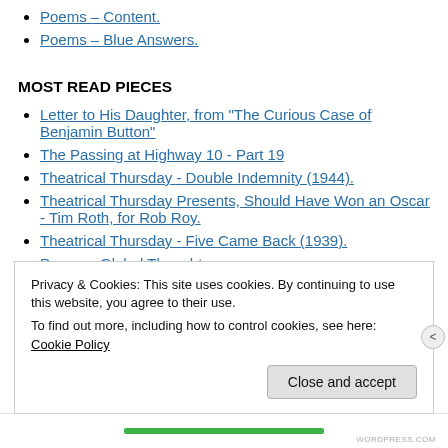Poems – Content.
Poems – Blue Answers.
MOST READ PIECES
Letter to His Daughter, from "The Curious Case of Benjamin Button"
The Passing at Highway 10 - Part 19
Theatrical Thursday - Double Indemnity (1944).
Theatrical Thursday Presents, Should Have Won an Oscar - Tim Roth, for Rob Roy.
Theatrical Thursday - Five Came Back (1939).
Poems - Global Thoughts.
Privacy & Cookies: This site uses cookies. By continuing to use this website, you agree to their use. To find out more, including how to control cookies, see here: Cookie Policy
Close and accept